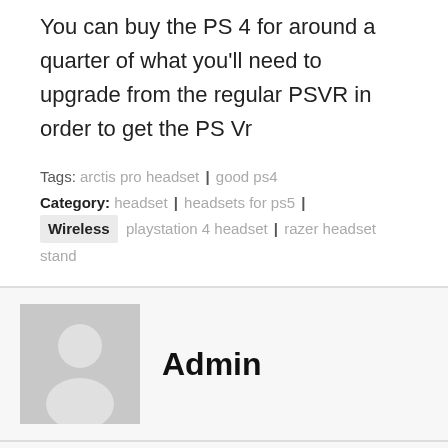You can buy the PS 4 for around a quarter of what you'll need to upgrade from the regular PSVR in order to get the PS Vr
Tags: arctis pro headset | good ps4 Category: headset | headsets for ps5 | Wireless | playstation 4 headset | razer headset stand
[Figure (illustration): Grey avatar placeholder icon showing a silhouette of a person (head and shoulders) on a grey background square]
Admin
← Previous:  Next: →